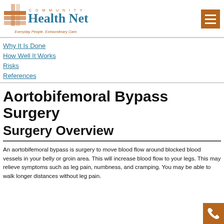Community Health Net — Everyday People. Extraordinary Care.
Why It Is Done
How Well It Works
Risks
References
Aortobifemoral Bypass Surgery
Surgery Overview
An aortobifemoral bypass is surgery to move blood flow around blocked blood vessels in your belly or groin area. This will increase blood flow to your legs. This may relieve symptoms such as leg pain, numbness, and cramping. You may be able to walk longer distances without leg pain.